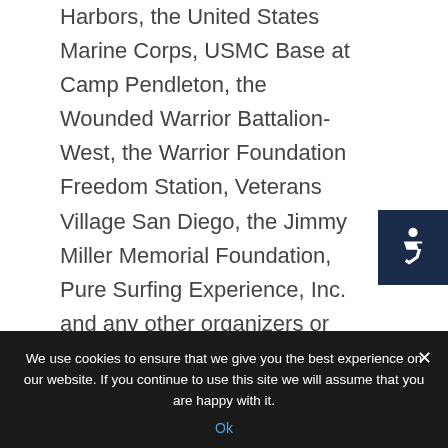Harbors, the United States Marine Corps, USMC Base at Camp Pendleton, the Wounded Warrior Battalion-West, the Warrior Foundation Freedom Station, Veterans Village San Diego, the Jimmy Miller Memorial Foundation, Pure Surfing Experience, Inc. and any other organizers or promoters or sponsors or
[Figure (other): Accessibility icon button - dark navy blue square with white wheelchair accessibility symbol]
[Figure (other): Scroll to top button - gray square with white upward chevron arrow]
We use cookies to ensure that we give you the best experience on our website. If you continue to use this site we will assume that you are happy with it.
Ok